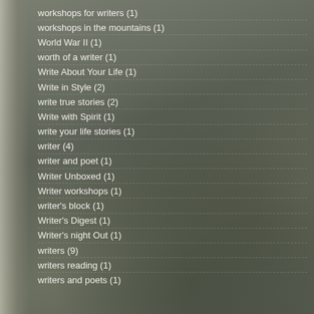workshops for writers (1)
workshops in the mountains (1)
World War II (1)
worth of a writer (1)
Write About Your Life (1)
Write in Style (2)
write true stories (2)
Write with Spirit (1)
write your life stories (1)
writer (4)
writer and poet (1)
Writer Unboxed (1)
Writer workshops (1)
writer's block (1)
Writer's Digest (1)
Writer's night Out (1)
writers (9)
writers reading (1)
writers and poets (1)